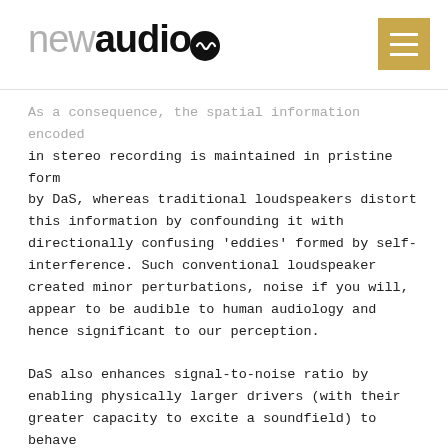newaudio
As a consequence, the spatial information encoded in stereo recording is maintained in pristine form by DaS, whereas traditional loudspeakers distort this information by confounding it with directionally confusing 'eddies' formed by self-interference. Such conventional loudspeaker created minor perturbations, noise if you will, appear to be audible to human audiology and hence significant to our perception.
DaS also enhances signal-to-noise ratio by enabling physically larger drivers (with their greater capacity to excite a soundfield) to behave like small 'point sources'.